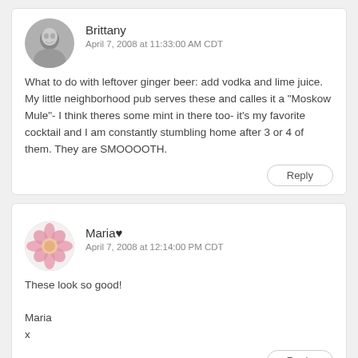Brittany
April 7, 2008 at 11:33:00 AM CDT
What to do with leftover ginger beer: add vodka and lime juice. My little neighborhood pub serves these and calles it a "Moskow Mule"- I think theres some mint in there too- it's my favorite cocktail and I am constantly stumbling home after 3 or 4 of them. They are SMOOOOTH.
Maria♥
April 7, 2008 at 12:14:00 PM CDT
These look so good!

Maria
x